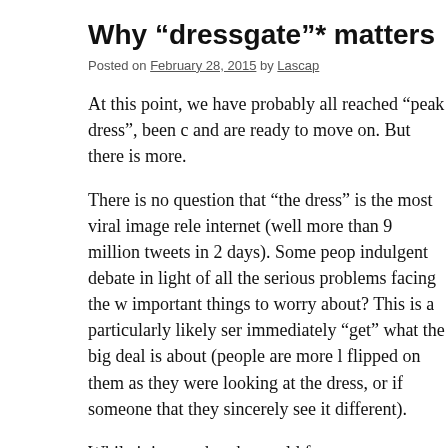Why “dressgate”* matters
Posted on February 28, 2015 by Lascap
At this point, we have probably all reached “peak dress”, been c and are ready to move on. But there is more.
There is no question that “the dress” is the most viral image rele internet (well more than 9 million tweets in 2 days). Some peop indulgent debate in light of all the serious problems facing the w important things to worry about? This is a particularly likely ser immediately “get” what the big deal is about (people are more l flipped on them as they were looking at the dress, or if someone that they sincerely see it different).
While it is true that the world faces many pressing problems, di frivolous. Here is why:
1. It’s not about the dress – it’s about visual perception and hum